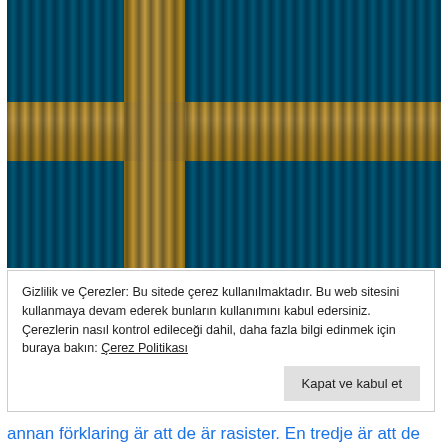[Figure (illustration): Swedish flag (blue and yellow cross) with surreal overlay of eyes and hair strands forming the cross pattern]
Gizlilik ve Çerezler: Bu sitede çerez kullanılmaktadır. Bu web sitesini kullanmaya devam ederek bunların kullanımını kabul edersiniz. Çerezlerin nasıl kontrol edileceği dahil, daha fazla bilgi edinmek için buraya bakın: Çerez Politikası
Kapat ve kabul et
annan förklaring är att de är rasister. En tredje är att de